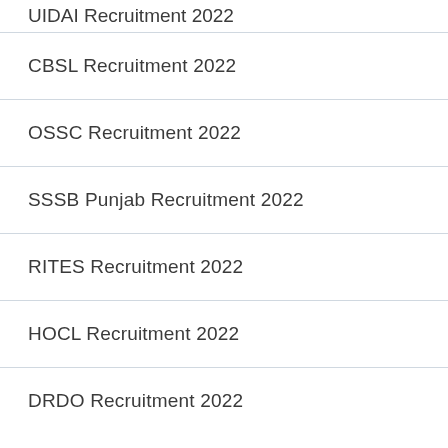UIDAI Recruitment 2022
CBSL Recruitment 2022
OSSC Recruitment 2022
SSSB Punjab Recruitment 2022
RITES Recruitment 2022
HOCL Recruitment 2022
DRDO Recruitment 2022